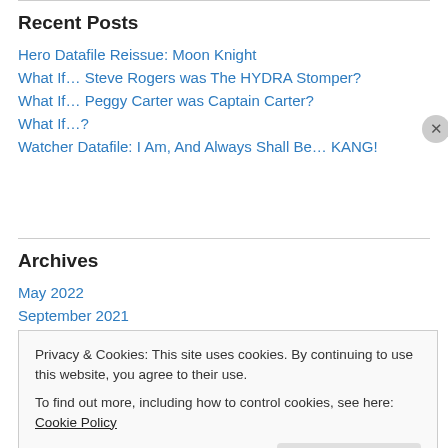Recent Posts
Hero Datafile Reissue: Moon Knight
What If… Steve Rogers was The HYDRA Stomper?
What If… Peggy Carter was Captain Carter?
What If…?
Watcher Datafile: I Am, And Always Shall Be… KANG!
Archives
May 2022
September 2021
Privacy & Cookies: This site uses cookies. By continuing to use this website, you agree to their use. To find out more, including how to control cookies, see here: Cookie Policy
Close and accept